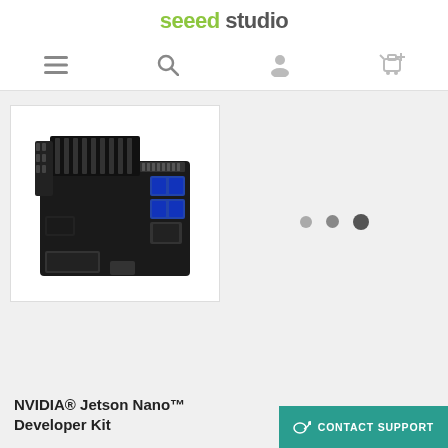seeed studio
[Figure (photo): NVIDIA Jetson Nano developer kit board with heatsink, showing USB ports and connectors, photographed on white background]
NVIDIA® Jetson Nano™ Developer Kit